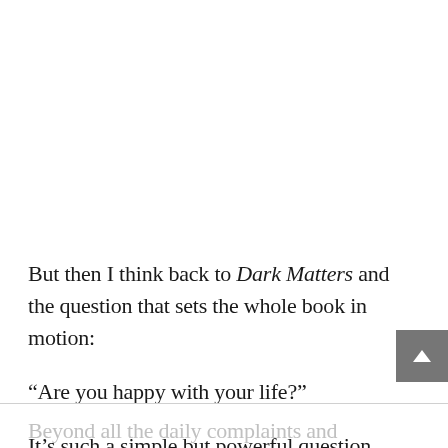But then I think back to Dark Matters and the question that sets the whole book in motion:
“Are you happy with your life?”
It’s such a simple but powerful question.
Beyond all the daily complaints and